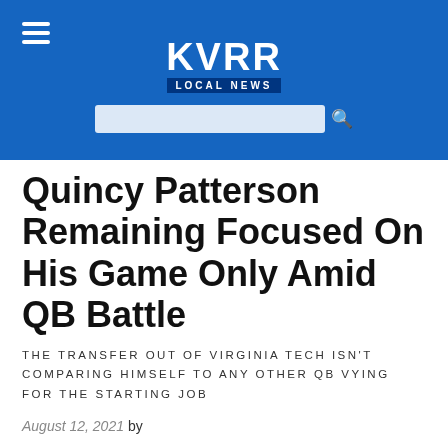KVRR LOCAL NEWS
Quincy Patterson Remaining Focused On His Game Only Amid QB Battle
THE TRANSFER OUT OF VIRGINIA TECH ISN'T COMPARING HIMSELF TO ANY OTHER QB VYING FOR THE STARTING JOB
August 12, 2021 by